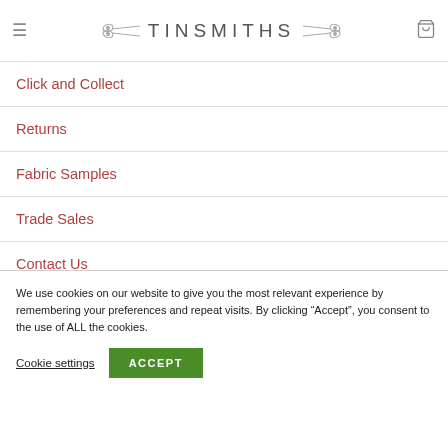TINSMITHS
Click and Collect
Returns
Fabric Samples
Trade Sales
Contact Us
We use cookies on our website to give you the most relevant experience by remembering your preferences and repeat visits. By clicking “Accept”, you consent to the use of ALL the cookies.
Cookie settings | ACCEPT